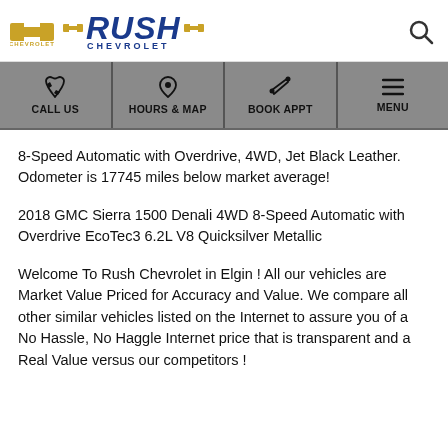Rush Chevrolet
CALL US  HOURS & MAP  BOOK APPT  MENU
8-Speed Automatic with Overdrive, 4WD, Jet Black Leather. Odometer is 17745 miles below market average!
2018 GMC Sierra 1500 Denali 4WD 8-Speed Automatic with Overdrive EcoTec3 6.2L V8 Quicksilver Metallic
Welcome To Rush Chevrolet in Elgin ! All our vehicles are Market Value Priced for Accuracy and Value. We compare all other similar vehicles listed on the Internet to assure you of a No Hassle, No Haggle Internet price that is transparent and a Real Value versus our competitors !